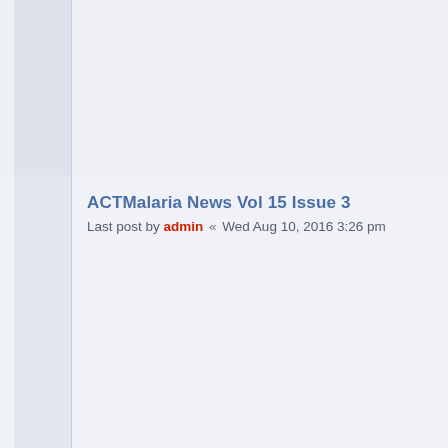ACTMalaria News Vol 15 Issue 3
Last post by admin « Wed Aug 10, 2016 3:26 pm